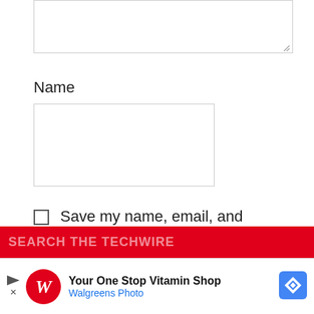[Figure (screenshot): Textarea input box (comment field) partially visible at top of page]
Name
[Figure (screenshot): Name input text field, empty]
Save my name, email, and website in this browser for the next time I comment.
[Figure (screenshot): POST COMMENT button, black background with white text]
SEARCH THE TECHWIRE
[Figure (screenshot): Walgreens Photo advertisement banner: 'Your One Stop Vitamin Shop' with Walgreens logo and blue diamond icon]